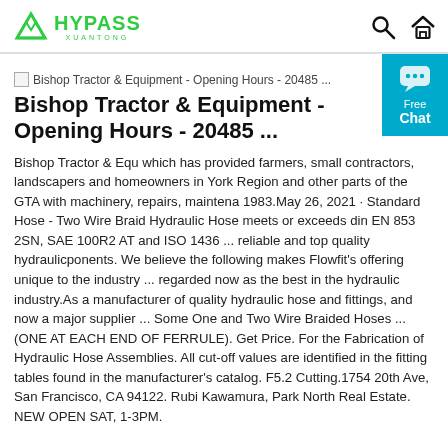HYPASS XUANTONG [logo with search and home icons]
[Figure (screenshot): Broken image thumbnail for Bishop Tractor & Equipment - Opening Hours - 20485 ...]
Bishop Tractor & Equipment - Opening Hours - 20485 ...
Bishop Tractor & Equipment - Opening Hours - 20485 ...
Bishop Tractor & Equ which has provided farmers, small contractors, landscapers and homeowners in York Region and other parts of the GTA with machinery, repairs, maintena 1983.May 26, 2021 · Standard Hose - Two Wire Braid Hydraulic Hose meets or exceeds din EN 853 2SN, SAE 100R2 AT and ISO 1436 ... reliable and top quality hydraulicponents. We believe the following makes Flowfit's offering unique to the industry ... regarded now as the best in the hydraulic industry.As a manufacturer of quality hydraulic hose and fittings, and now a major supplier ... Some One and Two Wire Braided Hoses ... (ONE AT EACH END OF FERRULE). Get Price. For the Fabrication of Hydraulic Hose Assemblies. All cut-off values are identified in the fitting tables found in the manufacturer's catalog. F5.2 Cutting.1754 20th Ave, San Francisco, CA 94122. Rubi Kawamura, Park North Real Estate. NEW OPEN SAT, 1-3PM.